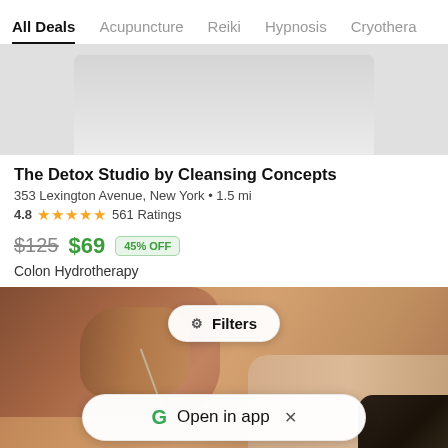All Deals  Acupuncture  Reiki  Hypnosis  Cryothera
[Figure (photo): Top portion of a light gray curved surface, likely the top of a product/service card image, showing a soft gray background]
The Detox Studio by Cleansing Concepts
353 Lexington Avenue, New York • 1.5 mi
4.8 ★★★★★ 561 Ratings
$125  $69  45% OFF
Colon Hydrotherapy
[Figure (photo): Close-up photo of hands performing acupuncture on a person's back. Warm orange/brown tones. A 'Filters' button overlay is visible in the center, and an 'Open in app' banner with Google G logo and close X is at the bottom.]